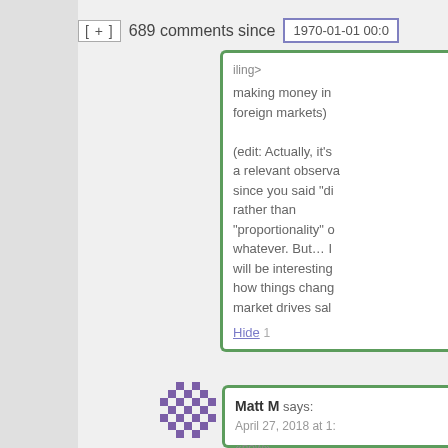[ + ] 689 comments since 1970-01-01 00:0
making money in foreign markets)
(edit: Actually, it's a relevant observa... since you said "di... rather than "proportionality" o... whatever. But... I will be interesting how things chang... market drives sal...
Hide 1
[Figure (illustration): Purple pixel art avatar/icon of a decorative geometric flower pattern]
Matt M says: April 27, 2018 at 1:
«new»